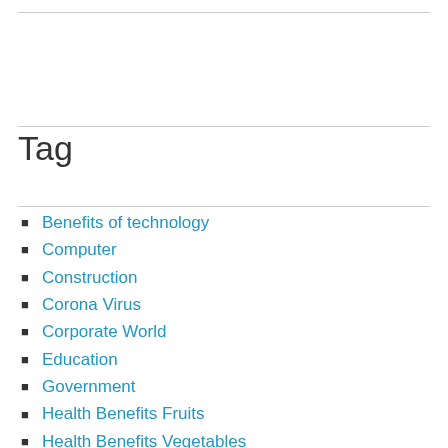Tag
Benefits of technology
Computer
Construction
Corona Virus
Corporate World
Education
Government
Health Benefits Fruits
Health Benefits Vegetables
Leadership